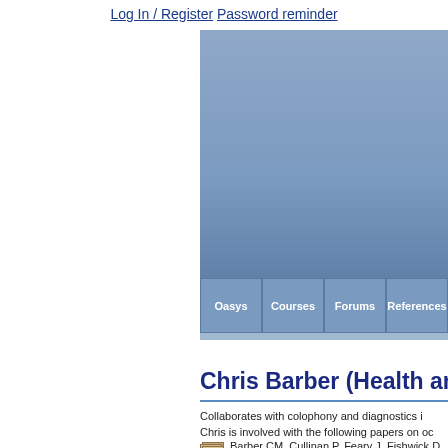Log In / Register   Password reminder
[Figure (screenshot): Website navigation banner with blue/grey mountain landscape background, navigation tabs: Oasys, Courses, Forums, References, and breadcrumb showing Home > Chris Barber, Health and Safety Labora...]
Chris Barber (Health an
Collaborates with colophony and diagnostics i...
Chris is involved with the following papers on oc...
Barber CM, Cullinan P, Feary J, Fishwick D... Thoracic Society Clinical Statement on occ... 442,http:// dx. doi. org/ 10. 1136/ thoraxjnl-